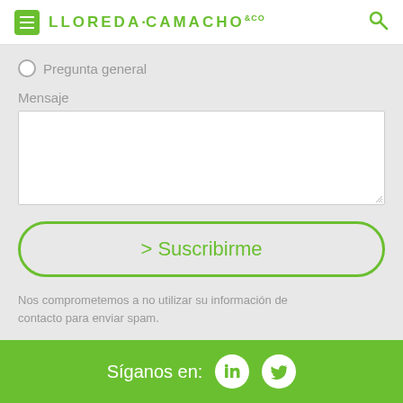[Figure (logo): Lloreda Camacho & Co law firm logo with hamburger menu icon and search icon]
Pregunta general
Mensaje
[Figure (screenshot): Empty textarea input field for message]
> Suscribirme
Nos comprometemos a no utilizar su información de contacto para enviar spam.
[Figure (infographic): Green footer bar with 'Síganos en:' text and LinkedIn and Twitter social media icons]